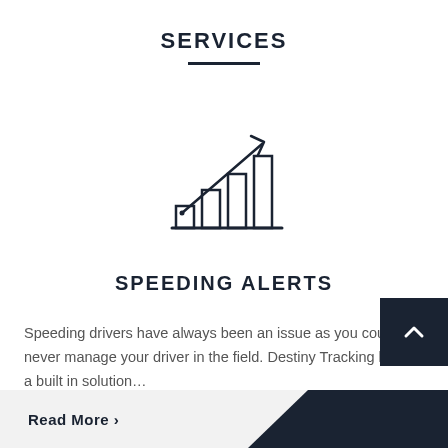SERVICES
[Figure (illustration): Bar chart icon with an upward trending arrow, outline style, dark navy color]
SPEEDING ALERTS
Speeding drivers have always been an issue as you could never manage your driver in the field. Destiny Tracking has a built in solution…
Read More >